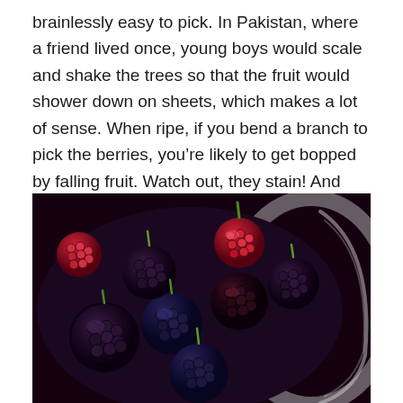brainlessly easy to pick. In Pakistan, where a friend lived once, young boys would scale and shake the trees so that the fruit would shower down on sheets, which makes a lot of sense. When ripe, if you bend a branch to pick the berries, you’re likely to get bopped by falling fruit. Watch out, they stain! And they paint fingers — and the edges of Maya’s mouth — a bright pink.
[Figure (photo): Close-up photo of a bowl filled with dark purple and black mulberries, some still with green stems attached, and a few red/unripe berries visible. The bowl appears to be a glass or metal container.]